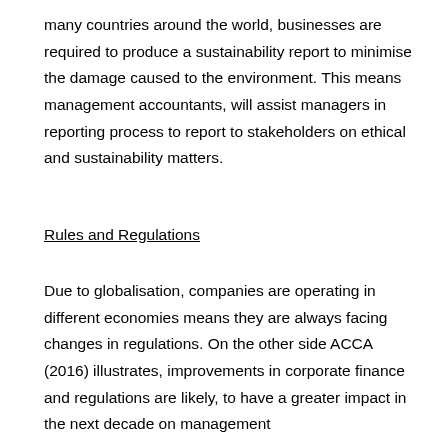many countries around the world, businesses are required to produce a sustainability report to minimise the damage caused to the environment. This means management accountants, will assist managers in reporting process to report to stakeholders on ethical and sustainability matters.
Rules and Regulations
Due to globalisation, companies are operating in different economies means they are always facing changes in regulations. On the other side ACCA (2016) illustrates, improvements in corporate finance and regulations are likely, to have a greater impact in the next decade on management